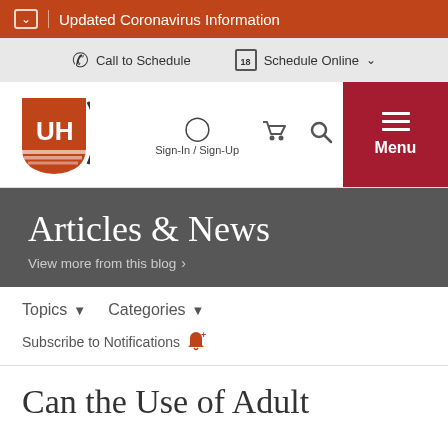Updated Coronavirus Information
Call to Schedule   Schedule Online
[Figure (logo): University Hospitals UH logo - red shield with UH letters]
Sign-In / Sign-Up
Menu
Articles & News
View more from this blog >
Topics  ▼    Categories  ▼
Subscribe to Notifications
Can the Use of Adult